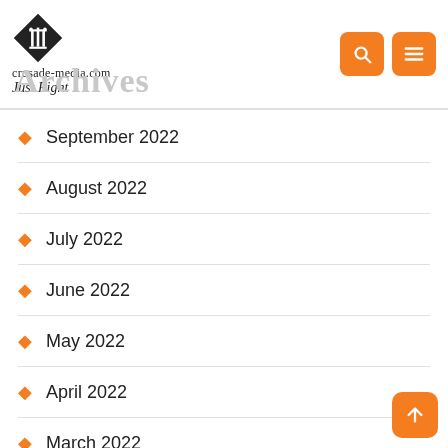crusade-media.com Just Right
Archives
September 2022
August 2022
July 2022
June 2022
May 2022
April 2022
March 2022
February 2022